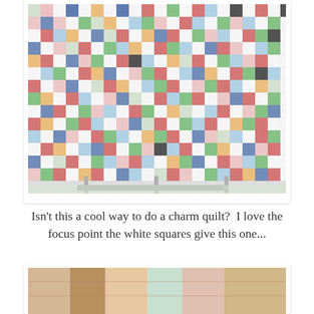[Figure (photo): A colorful patchwork charm quilt hanging on display, made up of many small fabric squares in various patterns and colors (red, blue, green, yellow, pink, teal, black, white, etc.) arranged so that white squares create a scattered focus-point pattern throughout the design. The quilt is hanging from a metal rack or stand in what appears to be a bright room.]
Isn't this a cool way to do a charm quilt?  I love the focus point the white squares give this one...
[Figure (photo): Partial view of another quilt photo at the bottom of the page, mostly cropped off.]